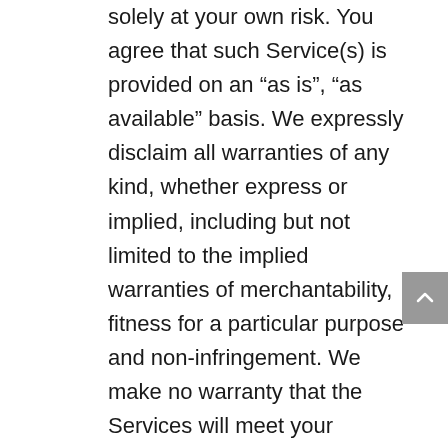solely at your own risk. You agree that such Service(s) is provided on an “as is”, “as available” basis. We expressly disclaim all warranties of any kind, whether express or implied, including but not limited to the implied warranties of merchantability, fitness for a particular purpose and non-infringement. We make no warranty that the Services will meet your requirements, or that the Service(s) will be uninterrupted, timely, secure, or error free; nor do we make any warranty as to the results that may be obtained from the use of the Service(s) or as to the accuracy or reliability of any information obtained through the Service or that defects in the Service will be